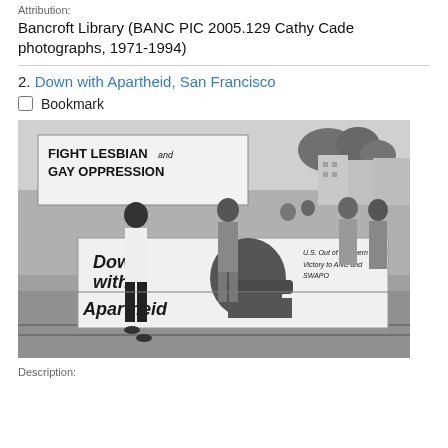Attribution:
Bancroft Library (BANC PIC 2005.129 Cathy Cade photographs, 1971-1994)
2. Down with Apartheid, San Francisco
Bookmark
[Figure (photo): Black and white photograph of a march in San Francisco. People carry a large banner reading 'Down with Apartheid' with a raised fist image. In the background a sign reads 'FIGHT LESBIAN and GAY OPPRESSION'. The banner also reads 'U.S. Out of Southern Africa Victory to ANC and SWAPO'.]
Description: